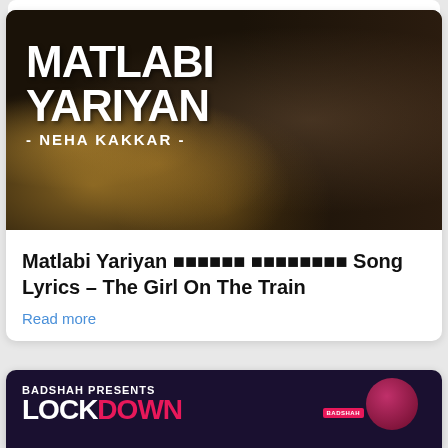[Figure (photo): Matlabi Yariyan song cover image showing a woman with dark hair against bokeh lights background, with bold white text 'MATLABI YARIYAN - NEHA KAKKAR -']
Matlabi Yariyan               Song Lyrics – The Girl On The Train
Read more
[Figure (photo): Badshah Presents Lockdown promotional banner with dark purple/black background and artist in red sunglasses]